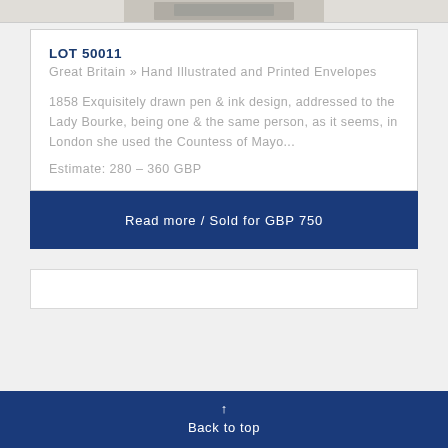[Figure (photo): Partial top strip showing a hand illustrated envelope image, cropped at top of page]
LOT 50011
Great Britain » Hand Illustrated and Printed Envelopes
1858 Exquisitely drawn pen & ink design, addressed to the Lady Bourke, being one & the same person, as it seems, in London she used the Countess of Mayo...
Estimate: 280 – 360 GBP
Read more / Sold for GBP 750
↑
Back to top